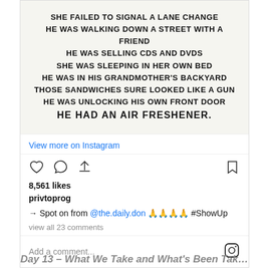[Figure (illustration): Handwritten-style text on off-white background listing reasons people were killed by police: 'SHE FAILED TO SIGNAL A LANE CHANGE / HE WAS WALKING DOWN A STREET WITH A FRIEND / HE WAS SELLING CDs AND DVDs / SHE WAS SLEEPING IN HER OWN BED / HE WAS IN HIS GRANDMOTHER'S BACKYARD / THOSE SANDWICHES SURE LOOKED LIKE A GUN / HE WAS UNLOCKING HIS OWN FRONT DOOR / HE HAD AN AIR FRESHENER.']
View more on Instagram
8,561 likes
privtoprog
→ Spot on from @the.daily.don 🙏🙏🙏🙏 #ShowUp
view all 23 comments
Add a comment...
Day 13 – What We Take and What's Been Taken